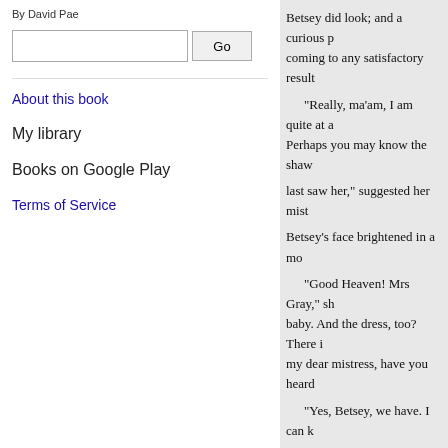By David Pae
About this book
My library
Books on Google Play
Terms of Service
Betsey did look; and a curious p... coming to any satisfactory result... "Really, ma'am, I am quite at a... Perhaps you may know the shaw... last saw her," suggested her mist... Betsey's face brightened in a mo... "Good Heaven! Mrs Gray," sh... baby. And the dress, too? There i... my dear mistress, have you heard... "Yes, Betsey, we have. I can k... Bewildered with delight, Betsey... her arms. Wildly, vehemently she strained her t... "What became of you? where... showered forth; and Mrs Gray w... " I have it now!" she suddenly... as you used to be eig); teen years... Thus, in unspeakable rapture and